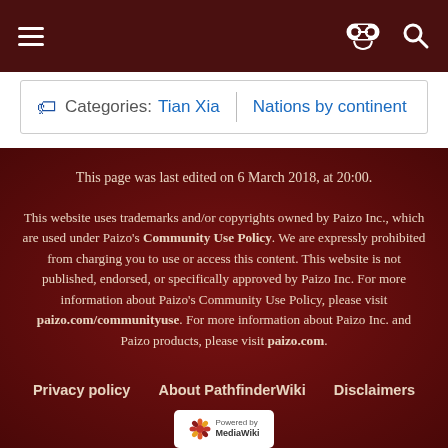≡  [spy icon] [search icon]
Categories:  Tian Xia  |  Nations by continent
This page was last edited on 6 March 2018, at 20:00.
This website uses trademarks and/or copyrights owned by Paizo Inc., which are used under Paizo's Community Use Policy. We are expressly prohibited from charging you to use or access this content. This website is not published, endorsed, or specifically approved by Paizo Inc. For more information about Paizo's Community Use Policy, please visit paizo.com/communityuse. For more information about Paizo Inc. and Paizo products, please visit paizo.com.
Privacy policy  About PathfinderWiki  Disclaimers
[Figure (logo): Powered by MediaWiki badge]